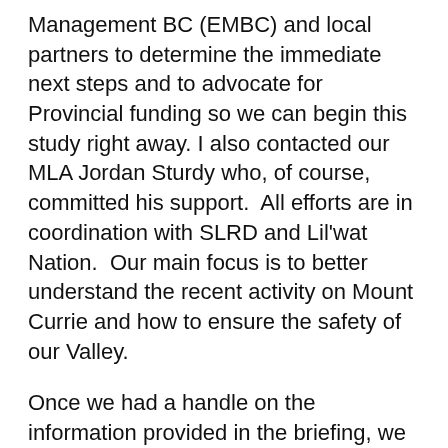Management BC (EMBC) and local partners to determine the immediate next steps and to advocate for Provincial funding so we can begin this study right away. I also contacted our MLA Jordan Sturdy who, of course, committed his support.  All efforts are in coordination with SLRD and Lil'wat Nation.  Our main focus is to better understand the recent activity on Mount Currie and how to ensure the safety of our Valley.
Once we had a handle on the information provided in the briefing, we wanted to share it with the public, and be accessible to you to answer questions and hear your concerns.  I'm sure we don't have all the answers to your questions right now, but we will share any information as it becomes available.
Here are my promises to you while we undergo this process: